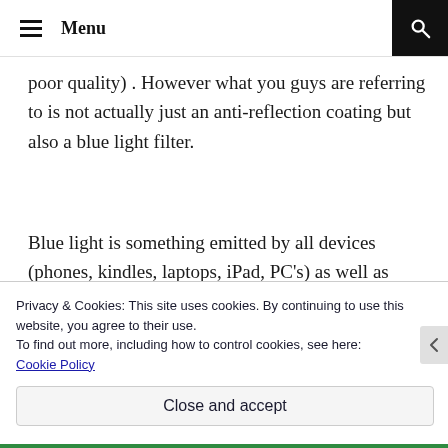Menu
poor quality) . However what you guys are referring to is not actually just an anti-reflection coating but also a blue light filter.
Blue light is something emitted by all devices (phones, kindles, laptops, iPad, PC's) as well as some of the newer more energy efficient lights. The negative side affects of over exposure to blue light,
Privacy & Cookies: This site uses cookies. By continuing to use this website, you agree to their use.
To find out more, including how to control cookies, see here:
Cookie Policy
Close and accept